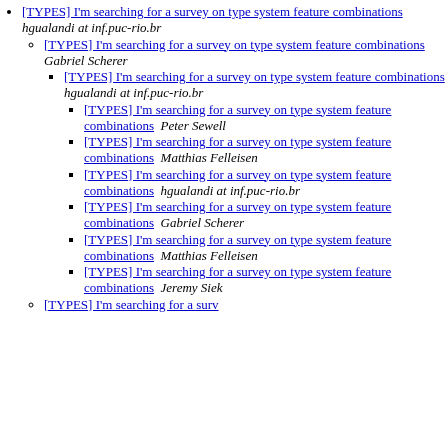[TYPES] I'm searching for a survey on type system feature combinations  hgualandi at inf.puc-rio.br
[TYPES] I'm searching for a survey on type system feature combinations  Gabriel Scherer
[TYPES] I'm searching for a survey on type system feature combinations  hgualandi at inf.puc-rio.br
[TYPES] I'm searching for a survey on type system feature combinations  Peter Sewell
[TYPES] I'm searching for a survey on type system feature combinations  Matthias Felleisen
[TYPES] I'm searching for a survey on type system feature combinations  hgualandi at inf.puc-rio.br
[TYPES] I'm searching for a survey on type system feature combinations  Gabriel Scherer
[TYPES] I'm searching for a survey on type system feature combinations  Matthias Felleisen
[TYPES] I'm searching for a survey on type system feature combinations  Jeremy Siek
[TYPES] I'm searching for a survey on ...